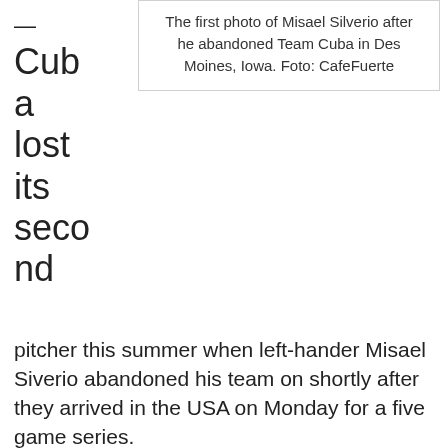— Cuba lost its second
[Figure (photo): Photo of Misael Silverio in a t-shirt with number 87, giving a thumbs up gesture. The photo is taken indoors.]
The first photo of Misael Silverio after he abandoned Team Cuba in Des Moines, Iowa. Foto: CafeFuerte
pitcher this summer when left-hander Misael Siverio abandoned his team on shortly after they arrived in the USA on Monday for a five game series.
Silveirio, 24, was a promising hurler for the recently crowned champion Villa Clara in the Cuban league, for at the month...